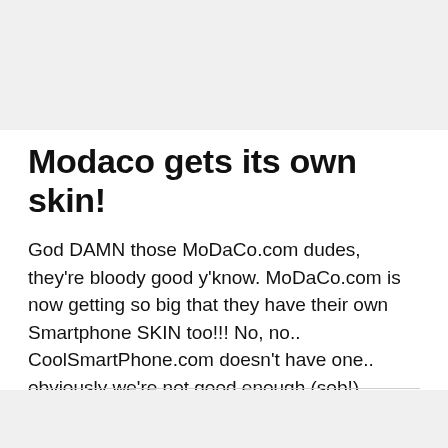Modaco gets its own skin!
God DAMN those MoDaCo.com dudes, they're bloody good y'know. MoDaCo.com is now getting so big that they have their own Smartphone SKIN too!!! No, no.. CoolSmartPhone.com doesn't have one.. obviously we're not good enough (sob!) …. Yes, that was a bi…